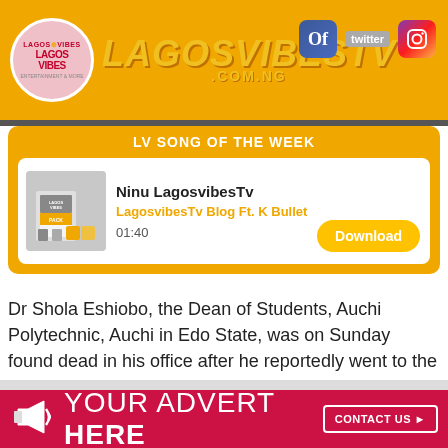[Figure (logo): LagosvibesTv website header with logo circle, site name LAGOSVIBESTV .COM.NG, and social media icons (Facebook, Twitter, Instagram)]
LV SONG OF THE WEEK
[Figure (other): Song card for 'Ninu LagosvibesTv' by LagosvibesTv Blog Ft. K Bullet, duration 01:40, with album art and Download button]
Dr Shola Eshiobo, the Dean of Students, Auchi Polytechnic, Auchi in Edo State, was on Sunday found dead in his office after he reportedly went to the office and did not return.
[Figure (infographic): Advertisement banner: YOUR ADVERT HERE with megaphone icon and CONTACT US button]